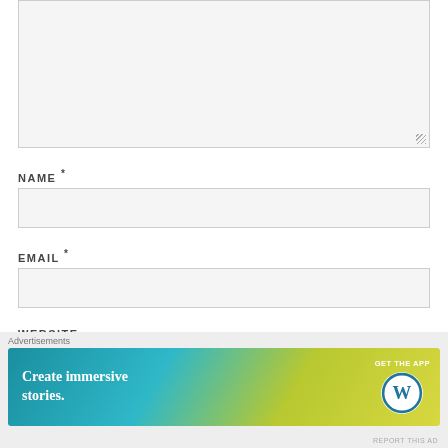[Figure (screenshot): A textarea form field (comment box) with light gray background and resize handle at bottom-right corner]
NAME *
[Figure (screenshot): A text input field for Name with light gray background and border]
EMAIL *
[Figure (screenshot): A text input field for Email with light gray background and border]
WEBSITE
[Figure (screenshot): WordPress advertisement banner showing 'Create immersive stories. GET THE APP' with WordPress logo, overlaid with an Advertisements label and close button]
REPORT THIS AD